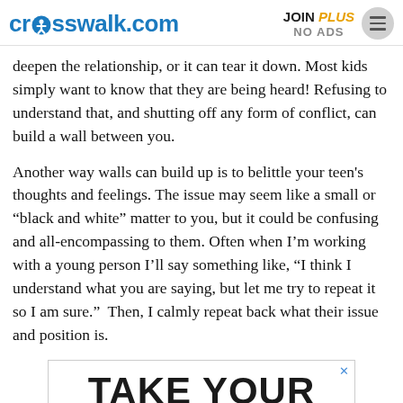crosswalk.com | JOIN PLUS NO ADS
deepen the relationship, or it can tear it down. Most kids simply want to know that they are being heard! Refusing to understand that, and shutting off any form of conflict, can build a wall between you.
Another way walls can build up is to belittle your teen's thoughts and feelings. The issue may seem like a small or “black and white” matter to you, but it could be confusing and all-encompassing to them. Often when I’m working with a young person I’ll say something like, “I think I understand what you are saying, but let me try to repeat it so I am sure.”  Then, I calmly repeat back what their issue and position is.
[Figure (other): Advertisement banner showing bold text 'TAKE YOUR' in large black letters on white background with a blue X close button in the top right corner.]